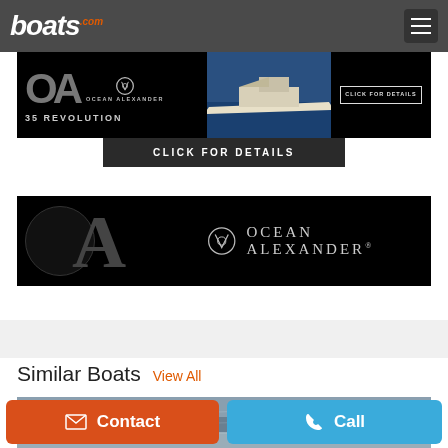boats.com
[Figure (advertisement): Ocean Alexander 35 Revolution advertisement banner - black background with OA logo, yacht image, and Click For Details button]
[Figure (advertisement): Ocean Alexander brand logo banner - large OA letters on black background with full Ocean Alexander wordmark]
Similar Boats  View All
[Figure (photo): Ocean water/sea surface photo at top of similar boats section]
Contact
Call